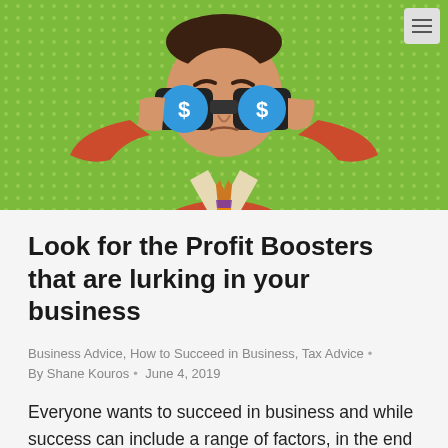[Figure (illustration): Pop-art style illustration of a man in a red suit holding binoculars with dollar signs on the lenses, set against a green halftone background]
Look for the Profit Boosters that are lurking in your business
Business Advice, How to Succeed in Business, Tax Advice • By Shane Kouros • June 4, 2019
Everyone wants to succeed in business and while success can include a range of factors, in the end it all comes down to whether or not your business makes a profit.  The fact is, every business owner wants to boost their profits to